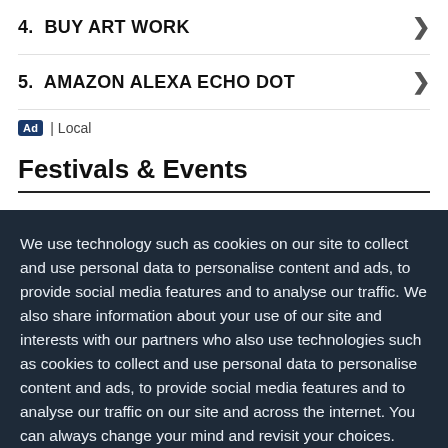4.  BUY ART WORK
5.  AMAZON ALEXA ECHO DOT
Ad | Local
Festivals & Events
We use technology such as cookies on our site to collect and use personal data to personalise content and ads, to provide social media features and to analyse our traffic. We also share information about your use of our site and interests with our partners who also use technologies such as cookies to collect and use personal data to personalise content and ads, to provide social media features and to analyse our traffic on our site and across the internet. You can always change your mind and revisit your choices.
Manage Options
I Accept